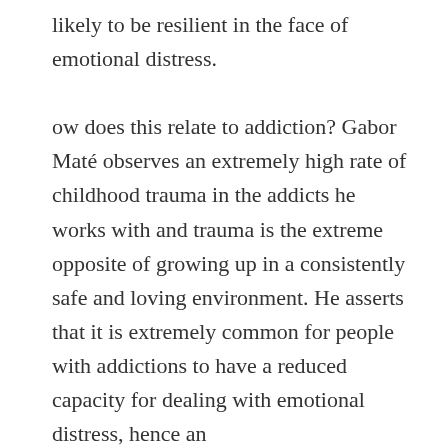likely to be resilient in the face of emotional distress.

ow does this relate to addiction? Gabor Maté observes an extremely high rate of childhood trauma in the addicts he works with and trauma is the extreme opposite of growing up in a consistently safe and loving environment. He asserts that it is extremely common for people with addictions to have a reduced capacity for dealing with emotional distress, hence an